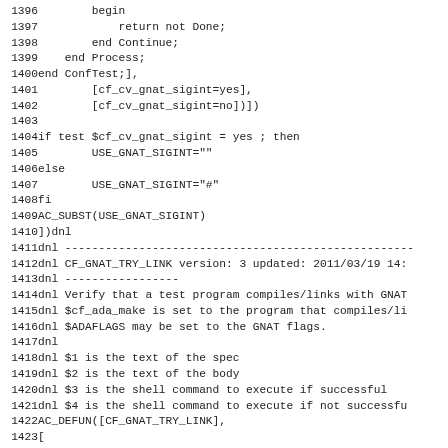Code listing lines 1396-1427, shell/autoconf script source code